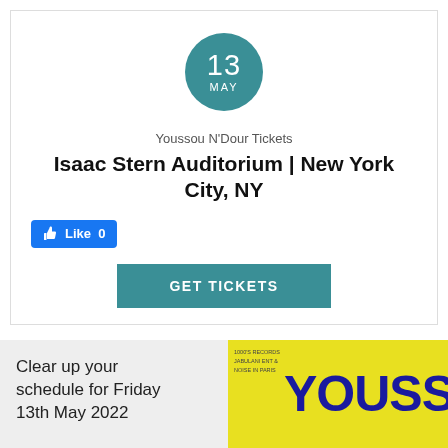[Figure (other): Teal circle with date 13 MAY]
Youssou N'Dour Tickets
Isaac Stern Auditorium | New York City, NY
[Figure (other): Facebook Like button showing Like 0]
[Figure (other): GET TICKETS button in teal]
Clear up your schedule for Friday 13th May 2022
[Figure (other): Youssou N'Dour album cover with yellow background and blue text YOUSSOU]